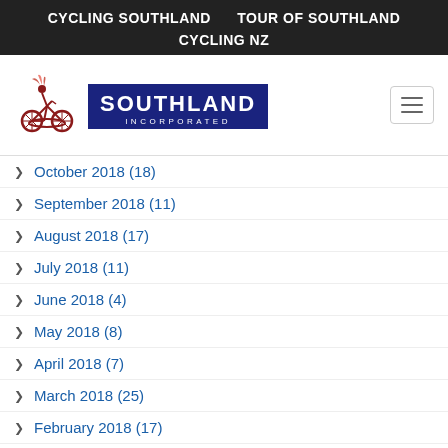CYCLING SOUTHLAND    TOUR OF SOUTHLAND    CYCLING NZ
[Figure (logo): Cycling Southland Incorporated logo with cyclist figure and blue SOUTHLAND INCORPORATED badge, plus hamburger menu icon]
October 2018 (18)
September 2018 (11)
August 2018 (17)
July 2018 (11)
June 2018 (4)
May 2018 (8)
April 2018 (7)
March 2018 (25)
February 2018 (17)
January 2018 (5)
December 2017 (9)
November 2017 (26)
October 2017 (21)
September 2017 (17)